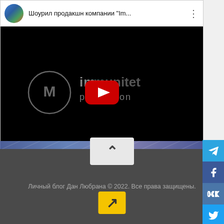[Figure (screenshot): YouTube embedded video player showing 'Шоурил продакшн компании "Im..."' with black video area displaying Immunitet Production logo and YouTube play button overlay]
[Figure (screenshot): Social media share sidebar with icons: Telegram (blue), Facebook (blue), VKontakte (blue), Twitter (blue), Email (red), WhatsApp (green), Viber (purple)]
[Figure (other): Blue decorative wave/arch banner at the bottom transition]
[Figure (other): Scroll-to-top button (chevron up) in light gray box]
Личный блог Дан Любрана © 2022. Все права защищены.
[Figure (other): Yandex Metrica button - yellow square with diagonal arrow icon]